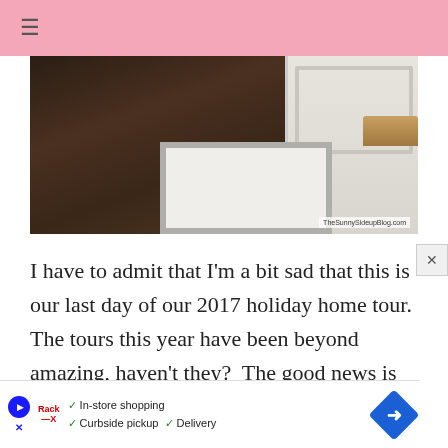≡
[Figure (photo): Interior hallway photo showing dark hardwood floors, white cabinetry with a wicker basket, and a white bath mat on the floor. Watermark reads TheSunnySideupBlog.com]
I have to admit that I'm a bit sad that this is our last day of our 2017 holiday home tour. The tours this year have been beyond amazing, haven't they?  The good news is that
[Figure (screenshot): Advertisement overlay: play button, Rack-X logo, checkmarks for In-store shopping, Curbside pickup, Delivery, and a blue diamond arrow icon. Close X button visible.]